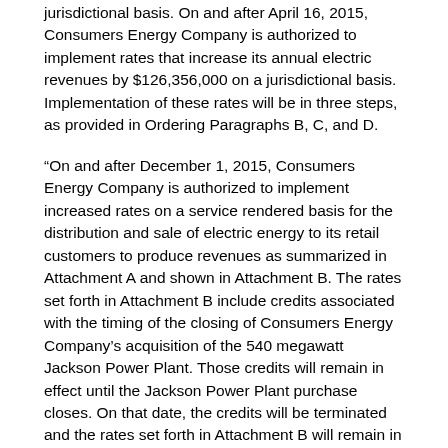jurisdictional basis. On and after April 16, 2015, Consumers Energy Company is authorized to implement rates that increase its annual electric revenues by $126,356,000 on a jurisdictional basis. Implementation of these rates will be in three steps, as provided in Ordering Paragraphs B, C, and D.
“On and after December 1, 2015, Consumers Energy Company is authorized to implement increased rates on a service rendered basis for the distribution and sale of electric energy to its retail customers to produce revenues as summarized in Attachment A and shown in Attachment B. The rates set forth in Attachment B include credits associated with the timing of the closing of Consumers Energy Company’s acquisition of the 540 megawatt Jackson Power Plant. Those credits will remain in effect until the Jackson Power Plant purchase closes. On that date, the credits will be terminated and the rates set forth in Attachment B will remain in effect.”